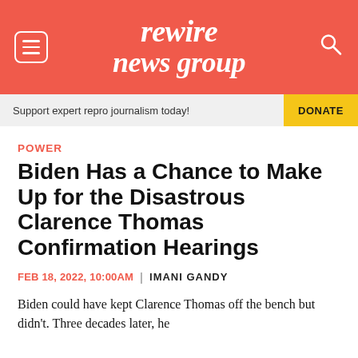rewire news group
Support expert repro journalism today! DONATE
POWER
Biden Has a Chance to Make Up for the Disastrous Clarence Thomas Confirmation Hearings
FEB 18, 2022, 10:00AM | IMANI GANDY
Biden could have kept Clarence Thomas off the bench but didn't. Three decades later, he